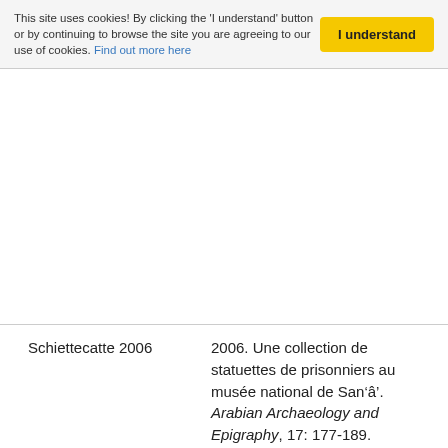This site uses cookies! By clicking the 'I understand' button or by continuing to browse the site you are agreeing to our use of cookies. Find out more here
| Key | Reference |
| --- | --- |
| Schiettecatte 2006 | 2006. Une collection de statuettes de prisonniers au musée national de San‘â’. Arabian Archaeology and Epigraphy, 17: 177-189. |
| Schiettecatte 2009 | 2009. Shabwa, Ma‘rib et Ṣan‘ā’. Le devenir des capitales sudarabiques à la veille de l’islam. Pages 251-281 in Jérémie Schiettecatte and Christian J. Robin (eds). L’Arabie à la veille de l’Islam. Bilan clinique. (Orient & Méditerranée, 3). Paris: De Boccard. [Table ronde tenue au Collège de France (Paris) les 28 et 29 août 2006 dans le cadre du projet de l’Agence |